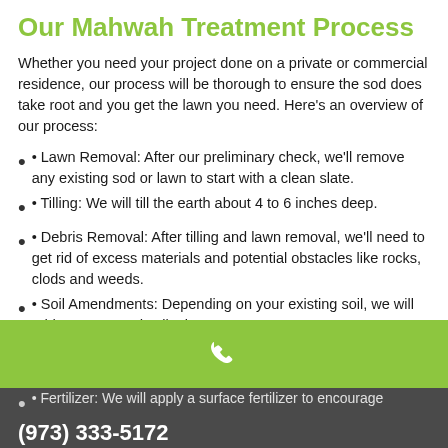Our Mahwah Treatment Process
Whether you need your project done on a private or commercial residence, our process will be thorough to ensure the sod does take root and you get the lawn you need. Here’s an overview of our process:
• Lawn Removal: After our preliminary check, we’ll remove any existing sod or lawn to start with a clean slate.
• Tilling: We will till the earth about 4 to 6 inches deep.
• Debris Removal: After tilling and lawn removal, we’ll need to get rid of excess materials and potential obstacles like rocks, clods and weeds.
• Soil Amendments: Depending on your existing soil, we will add compost and soil mixes as necessary.
[Figure (other): Green bar with white phone icon]
• Fertilizer: We will apply a surface fertilizer to encourage
(973) 333-5172